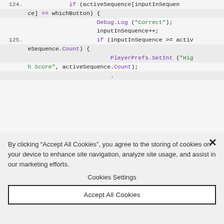[Figure (screenshot): Code snippet in a monospace editor showing C# Unity code with line numbers. Line 124 (partial): if (activeSequence[inputInSequence] == whichButton) { Debug.Log("Correct"); inputInSequence++; Line 125: if (inputInSequence >= activeSequence.Count) { PlayerPrefs.SetInt("High Score", activeSequence.Count);]
By clicking “Accept All Cookies”, you agree to the storing of cookies on your device to enhance site navigation, analyze site usage, and assist in our marketing efforts.
Cookies Settings
Accept All Cookies